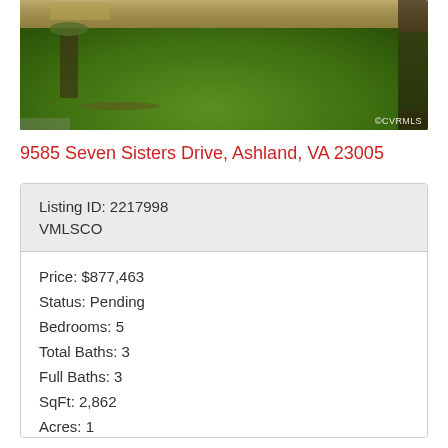[Figure (photo): Exterior photo of residential property with green lawn, landscaping, and house in background. ©CVRMLS watermark visible.]
9585 Seven Sisters Drive, Ashland, VA 23005
| Listing ID: 2217998 |
| VMLSCO |
| Price: $877,463 |
| Status: Pending |
| Bedrooms: 5 |
| Total Baths: 3 |
| Full Baths: 3 |
| SqFt: 2,862 |
| Acres: 1 |
| Subdivision: Hickory Hill |